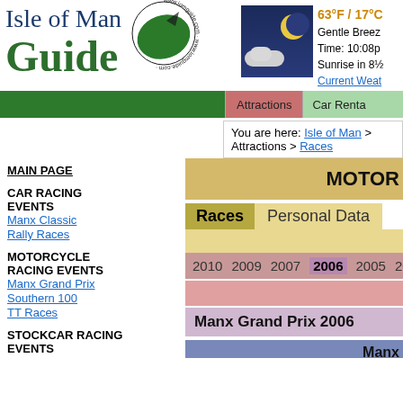[Figure (logo): Isle of Man Guide logo with stylized map icon and circular iomguide.com text]
[Figure (infographic): Weather widget showing night sky with moon and clouds, temperature 63°F / 17°C, Gentle Breeze, Time: 10:08p, Sunrise in 8½, Current Weather link]
63°F / 17°C
Gentle Breeze
Time: 10:08p
Sunrise in 8½
Current Weather
Attractions
Car Renta
You are here: Isle of Man > Attractions > Races
MAIN PAGE
CAR RACING EVENTS
Manx Classic
Rally Races
MOTORCYCLE RACING EVENTS
Manx Grand Prix
Southern 100
TT Races
STOCKCAR RACING EVENTS
MOTOR
Races  Personal Data
2010  2009  2007  2006  2005  2004
Manx Grand Prix 2006
Manx